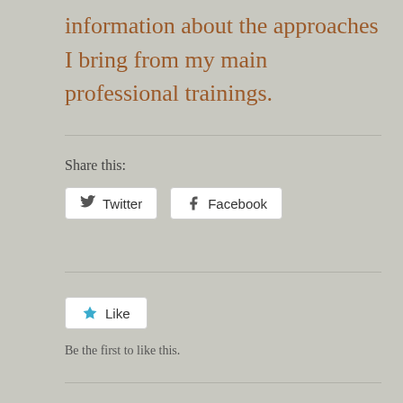information about the approaches I bring from my main professional trainings.
Share this:
[Figure (screenshot): Twitter and Facebook share buttons]
[Figure (screenshot): Like button with star icon]
Be the first to like this.